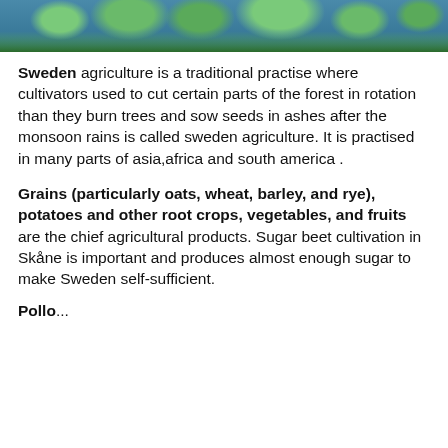[Figure (photo): Aerial or ground-level photograph of a dense green forest with trees, with a hint of blue sky or water in the background.]
Sweden agriculture is a traditional practise where cultivators used to cut certain parts of the forest in rotation than they burn trees and sow seeds in ashes after the monsoon rains is called sweden agriculture. It is practised in many parts of asia,africa and south america .
Grains (particularly oats, wheat, barley, and rye), potatoes and other root crops, vegetables, and fruits are the chief agricultural products. Sugar beet cultivation in Skåne is important and produces almost enough sugar to make Sweden self-sufficient.
Pollo...